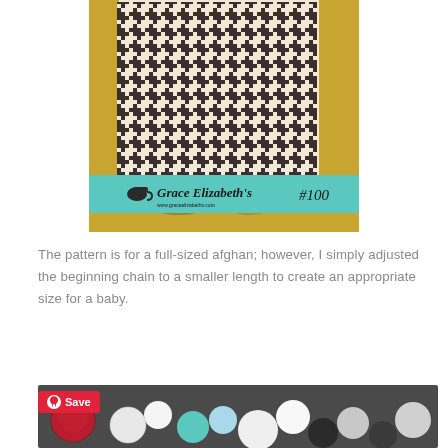[Figure (photo): A houndstooth patterned crochet afghan blanket in cream and dark brown, draped over a yellow mustard couch. A teal banner with 'Grace Elizabeth's #100' branding overlays the bottom of the image.]
The pattern is for a full-sized afghan; however, I simply adjusted the beginning chain to a smaller length to create an appropriate size for a baby.
[Figure (photo): A collection of colorful yarn balls and skeins in various colors including red, white, teal, and dark shades, spread across a surface. A red Pinterest Save button overlays the top-left corner.]